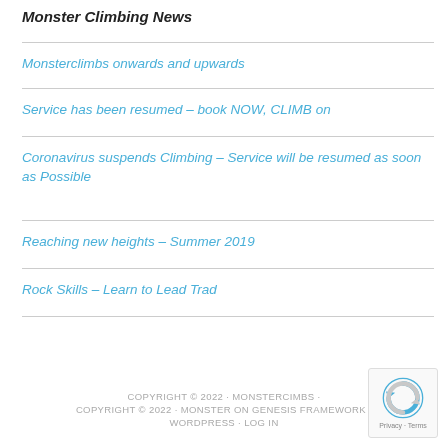Monster Climbing News
Monsterclimbs onwards and upwards
Service has been resumed – book NOW, CLIMB on
Coronavirus suspends Climbing – Service will be resumed as soon as Possible
Reaching new heights – Summer 2019
Rock Skills – Learn to Lead Trad
COPYRIGHT © 2022 · MONSTERCIMBS · COPYRIGHT © 2022 · MONSTER ON GENESIS FRAMEWORK · WORDPRESS · LOG IN